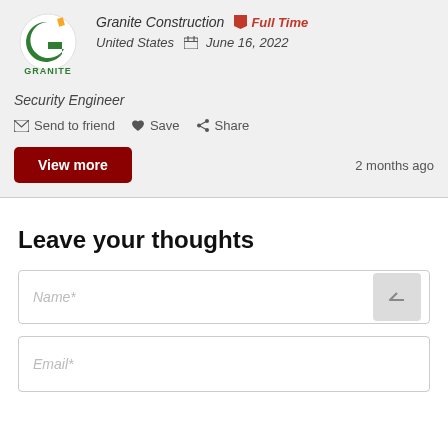[Figure (logo): Granite Construction company logo with green G and yellow accent, text GRANITE below]
Granite Construction   Full Time
United States   June 16, 2022
Security Engineer
Send to friend   Save   Share
View more   2 months ago
Leave your thoughts
Name*
Email*